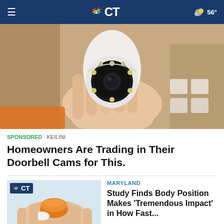NBC CT — 56°
[Figure (photo): A hand holding a small white dome-shaped security camera with LED ring, with cardboard boxes in the background]
SPONSORED · KEILINI
Homeowners Are Trading in Their Doorbell Cams for This.
[Figure (photo): A person holding a small orange and white pill bottle cap, with NBC CT logo overlay in top left]
MARYLAND
Study Finds Body Position Makes 'Tremendous Impact' in How Fast...